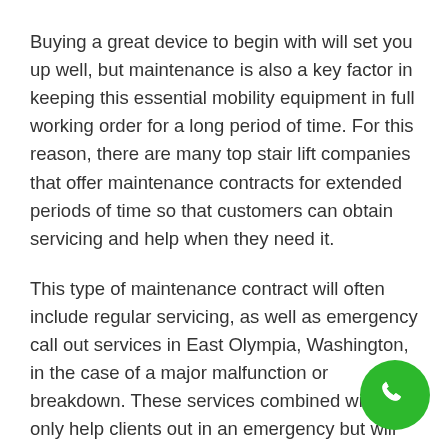Buying a great device to begin with will set you up well, but maintenance is also a key factor in keeping this essential mobility equipment in full working order for a long period of time. For this reason, there are many top stair lift companies that offer maintenance contracts for extended periods of time so that customers can obtain servicing and help when they need it.
This type of maintenance contract will often include regular servicing, as well as emergency call out services in East Olympia, Washington, in the case of a major malfunction or breakdown. These services combined will not only help clients out in an emergency but will also ensure that all new and used stairlifts remain in top condition for as long as possible.
[Figure (other): Green circular phone/call button icon in the bottom right corner]